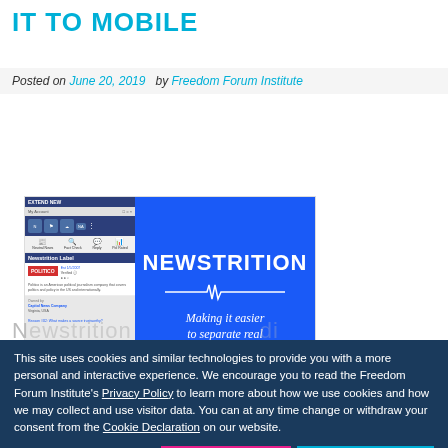IT TO MOBILE
Posted on June 20, 2019  by Freedom Forum Institute
[Figure (screenshot): Screenshot of Newstrition browser extension and promotional graphic. Left side shows a desktop browser extension panel displaying a 'Newstrition Label' for Politico with source details. Right side shows a blue promotional image with text 'NEWSTRITION – Making it easier to separate real from junk news' with a heartbeat/wave graphic.]
Newstrition...
This site uses cookies and similar technologies to provide you with a more personal and interactive experience. We encourage you to read the Freedom Forum Institute's Privacy Policy to learn more about how we use cookies and how we may collect and use visitor data. You can at any time change or withdraw your consent from the Cookie Declaration on our website.
Allow selection
Allow all cookies
Necessary  Preferences  Statistics  Marketing  Show details